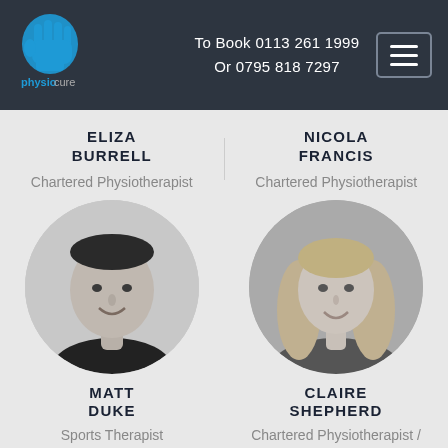[Figure (logo): Physiocure logo with blue hand icon and text 'physiocure']
To Book 0113 261 1999
Or 0795 818 7297
ELIZA BURRELL
Chartered Physiotherapist
NICOLA FRANCIS
Chartered Physiotherapist
[Figure (photo): Black and white circular photo of Matt Duke, smiling man with short dark hair]
MATT DUKE
Sports Therapist
[Figure (photo): Black and white circular photo of Claire Shepherd, young woman with long blonde hair]
CLAIRE SHEPHERD
Chartered Physiotherapist /